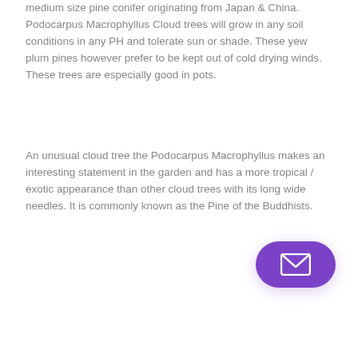medium size pine conifer originating from Japan & China. Podocarpus Macrophyllus Cloud trees will grow in any soil conditions in any PH and tolerate sun or shade. These yew plum pines however prefer to be kept out of cold drying winds. These trees are especially good in pots.
An unusual cloud tree the Podocarpus Macrophyllus makes an interesting statement in the garden and has a more tropical / exotic appearance than other cloud trees with its long wide needles. It is commonly known as the Pine of the Buddhists.
[Figure (illustration): Purple rounded rectangle button with a white envelope/mail icon in the center]